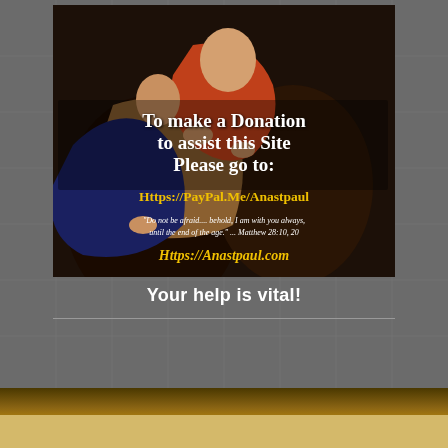[Figure (illustration): Religious painting of Madonna and Child (Jesus) with donation appeal text overlay. White serif text reads 'To make a Donation to assist this Site Please go to:' followed by yellow text 'Https://PayPal.Me/Anastpaul', italic white scripture quote 'Do not be afraid.... behold, I am with you always, until the end of the age.' ... Matthew 28:10,20, and yellow italic website 'Https://Anastpaul.com']
Your help is vital!